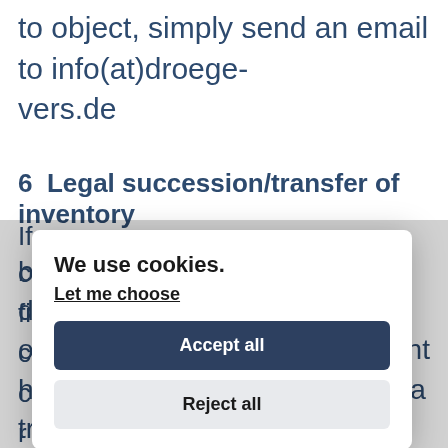to object, simply send an email to info(at)droege-vers.de
6  Legal succession/transfer of inventory
If
c
fi
c
c
r
[Figure (screenshot): Cookie consent modal dialog with title 'We use cookies.', 'Let me choose' link, 'Accept all' dark blue button, and 'Reject all' light grey button]
before forwarding the data and disclose the name and address of the receiving broker. The client has the right to object to the data transfer to the